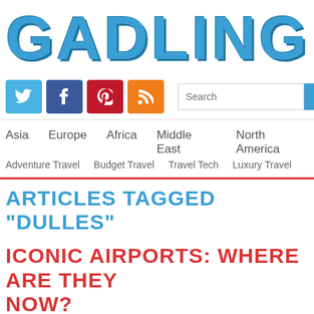GADLING
[Figure (logo): Social media icons: Twitter (blue), Facebook (dark blue), Pinterest (red), RSS (orange); Search input field with SEARCH button]
Asia  Europe  Africa  Middle East  North America
Adventure Travel  Budget Travel  Travel Tech  Luxury Travel
ARTICLES TAGGED "DULLES"
ICONIC AIRPORTS: WHERE ARE THEY NOW?